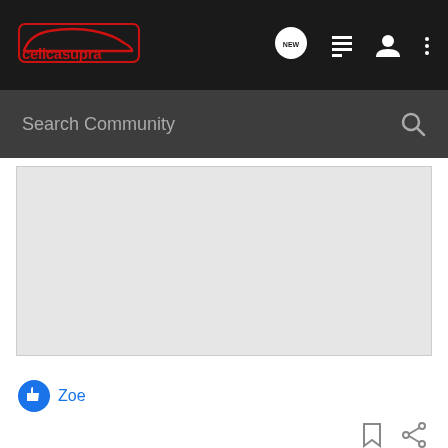celicasupra — community navigation bar with logo, NEW chat icon, list icon, user icon, and more icon
Search Community
[Figure (screenshot): Large light gray image placeholder area, approximately the width of the content, with a white background and light gray fill representing an image post]
Zoe
bookmark and share icons